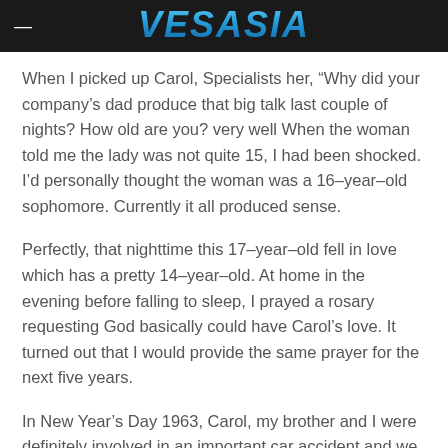VESASIA
When I picked up Carol, Specialists her, “Why did your company’s dad produce that big talk last couple of nights? How old are you? very well When the woman told me the lady was not quite 15, I had been shocked. I’d personally thought the woman was a 16–year–old sophomore. Currently it all produced sense.
Perfectly, that nighttime this 17–year–old fell in love which has a pretty 14–year–old. At home in the evening before falling to sleep, I prayed a rosary requesting God basically could have Carol’s love. It turned out that I would provide the same prayer for the next five years.
In New Year’s Day 1963, Carol, my brother and I were definitely involved in an important car accident and we were virtually all hurt to various extents. Involving the